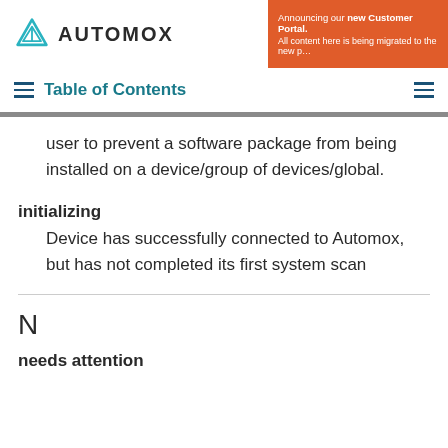AUTOMOX
Announcing our new Customer Portal. All content here is being migrated to the new p…
Table of Contents
user to prevent a software package from being installed on a device/group of devices/global.
initializing
Device has successfully connected to Automox, but has not completed its first system scan
N
needs attention